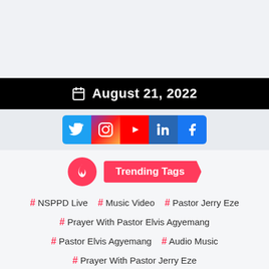August 21, 2022
[Figure (infographic): Social media icons row: Twitter, Instagram, YouTube, LinkedIn, Facebook]
Trending Tags
# NSPPD Live  # Music Video  # Pastor Jerry Eze
# Prayer With Pastor Elvis Agyemang
# Pastor Elvis Agyemang  # Audio Music
# Prayer With Pastor Jerry Eze
# Morning Prayer With Pastor Jerry Eze